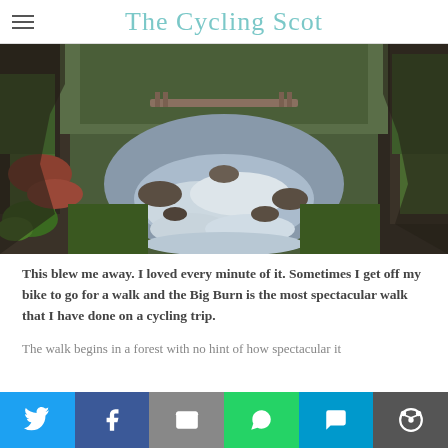The Cycling Scot
[Figure (photo): A rushing stream (Big Burn) flowing through a rocky gorge with moss-covered walls, green ferns, and a wooden bridge visible in the background.]
This blew me away. I loved every minute of it. Sometimes I get off my bike to go for a walk and the Big Burn is the most spectacular walk that I have done on a cycling trip.
The walk begins in a forest with no hint of how spectacular it
Social share bar: Twitter, Facebook, Email, WhatsApp, SMS, More